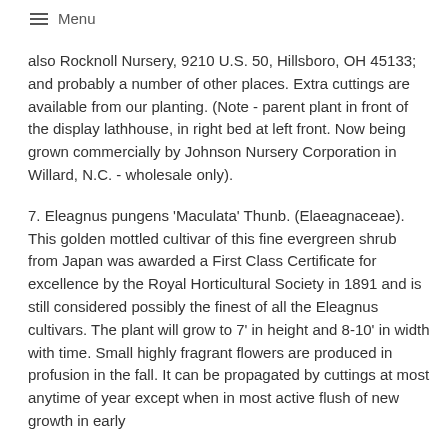≡ Menu
also Rocknoll Nursery, 9210 U.S. 50, Hillsboro, OH 45133; and probably a number of other places. Extra cuttings are available from our planting. (Note - parent plant in front of the display lathhouse, in right bed at left front. Now being grown commercially by Johnson Nursery Corporation in Willard, N.C. - wholesale only).
7. Eleagnus pungens 'Maculata' Thunb. (Elaeagnaceae). This golden mottled cultivar of this fine evergreen shrub from Japan was awarded a First Class Certificate for excellence by the Royal Horticultural Society in 1891 and is still considered possibly the finest of all the Eleagnus cultivars. The plant will grow to 7' in height and 8-10' in width with time. Small highly fragrant flowers are produced in profusion in the fall. It can be propagated by cuttings at most anytime of year except when in most active flush of new growth in early spring. Results can be expected to yield at very small